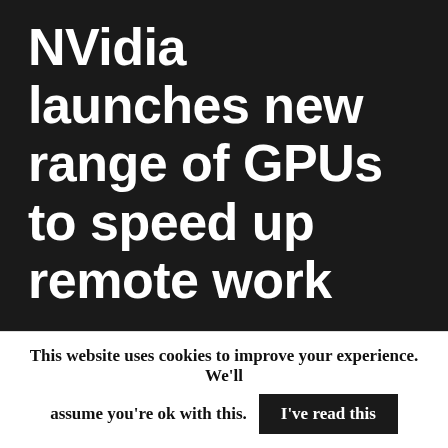NVidia launches new range of GPUs to speed up remote work
Nvidia has announced a range of eight new GPUs for laptops, desktops and servers that it says makes it possible for VFX artists, designers and engineers to work from wherever they choose, without sacrificing quality or time.
This website uses cookies to improve your experience. We'll assume you're ok with this. I've read this